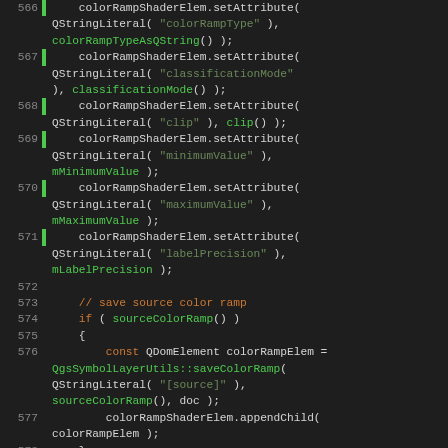[Figure (screenshot): Source code listing in a dark-themed IDE showing C++ code lines 566–582, featuring colorRampShaderElem.setAttribute calls, a comment block about saving source color ramp, an if statement, QDomElement declarations, and QList declarations. Line numbers in grey, green gutter markers, keywords in orange, string literals in blue, function names in green.]